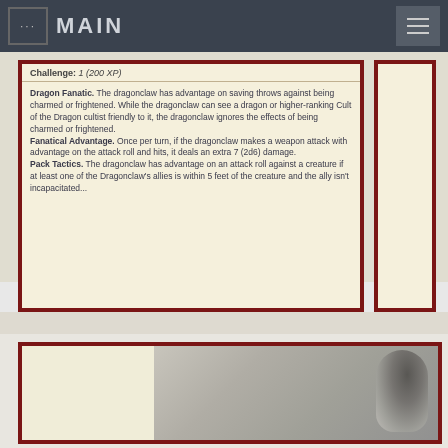... MAIN
Challenge: 1 (200 XP)
Dragon Fanatic. The dragonclaw has advantage on saving throws against being charmed or frightened. While the dragonclaw can see a dragon or higher-ranking Cult of the Dragon cultist friendly to it, the dragonclaw ignores the effects of being charmed or frightened.
Fanatical Advantage. Once per turn, if the dragonclaw makes a weapon attack with advantage on the attack roll and hits, it deals an extra 7 (2d6) damage.
Pack Tactics. The dragonclaw has advantage on an attack roll against a creature if at least one of the Dragonclaw's allies is within 5 feet of the creature and the ally isn't incapacitated...
[Figure (photo): Partial view of a blurred figure, likely a game character or creature illustration, visible at the bottom of the page in a card frame with dark red border.]